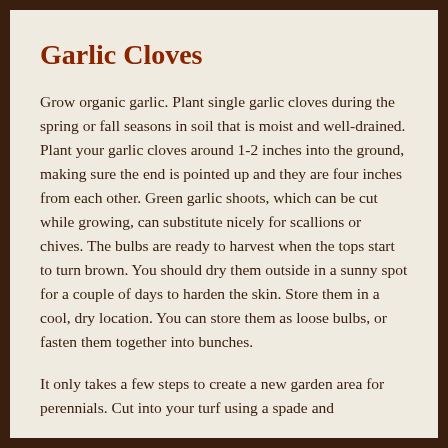Garlic Cloves
Grow organic garlic. Plant single garlic cloves during the spring or fall seasons in soil that is moist and well-drained. Plant your garlic cloves around 1-2 inches into the ground, making sure the end is pointed up and they are four inches from each other. Green garlic shoots, which can be cut while growing, can substitute nicely for scallions or chives. The bulbs are ready to harvest when the tops start to turn brown. You should dry them outside in a sunny spot for a couple of days to harden the skin. Store them in a cool, dry location. You can store them as loose bulbs, or fasten them together into bunches.
It only takes a few steps to create a new garden area for perennials. Cut into your turf using a spade and